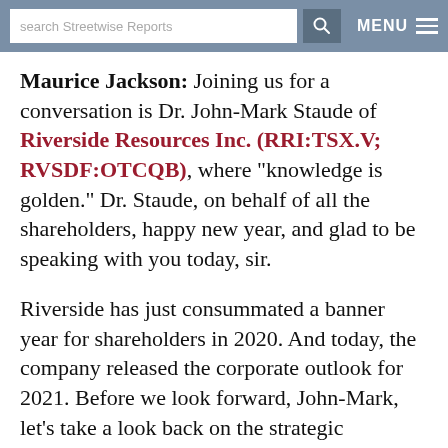search Streetwise Reports  MENU
Maurice Jackson: Joining us for a conversation is Dr. John-Mark Staude of Riverside Resources Inc. (RRI:TSX.V; RVSDF:OTCQB), where "knowledge is golden." Dr. Staude, on behalf of all the shareholders, happy new year, and glad to be speaking with you today, sir.
Riverside has just consummated a banner year for shareholders in 2020. And today, the company released the corporate outlook for 2021. Before we look forward, John-Mark, let's take a look back on the strategic successes of 2020, as shareholders profited from a share price increase from $0.10 up to $0.54, to